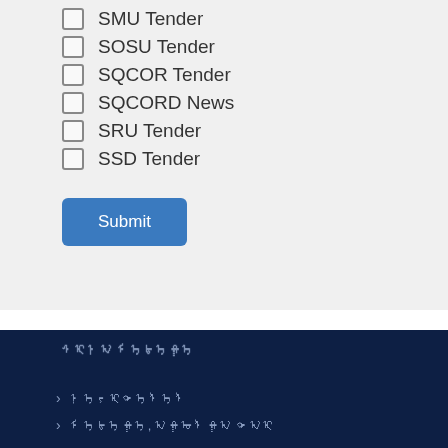SMU Tender
SOSU Tender
SQCOR Tender
SQCORD News
SRU Tender
SSD Tender
Submit
ᠰᠢᠨᠠ ᠮᠡᠳᠡᠭᠡ
> ᠨᠡᠶᠢᠲᠡᠯᠡᠯ
> ᠮᠡᠳᠡᠭᠡ, ᠠᠭᠤᠯᠭᠠ ᠲᠠᠢ